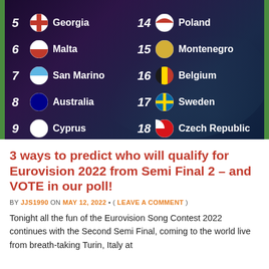[Figure (infographic): Eurovision 2022 running order graphic on dark purple/navy background showing countries 5-9 in left column and 14-18 in right column, with Moroccanoil sponsor logo at bottom. Countries listed: 5 Georgia, 6 Malta, 7 San Marino, 8 Australia, 9 Cyprus, 14 Poland, 15 Montenegro, 16 Belgium, 17 Sweden, 18 Czech Republic.]
3 ways to predict who will qualify for Eurovision 2022 from Semi Final 2 – and VOTE in our poll!
BY JJS1990 ON MAY 12, 2022 • ( LEAVE A COMMENT )
Tonight all the fun of the Eurovision Song Contest 2022 continues with the Second Semi Final, coming to the world live from breath-taking Turin, Italy at